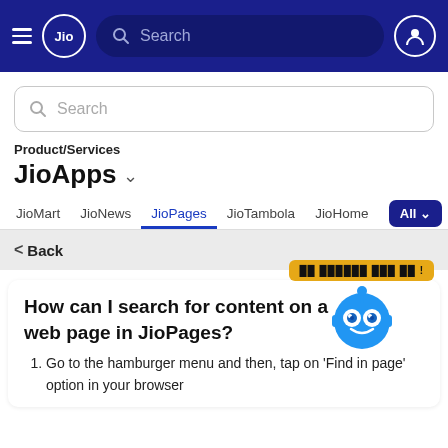Jio — Search bar navigation header
Search
Product/Services
JioApps
JioMart | JioNews | JioPages | JioTambola | JioHome | All
< Back
How can I search for content on a web page in JioPages?
Go to the hamburger menu and then, tap on 'Find in page' option in your browser